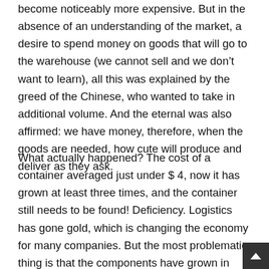become noticeably more expensive. But in the absence of an understanding of the market, a desire to spend money on goods that will go to the warehouse (we cannot sell and we don't want to learn), all this was explained by the greed of the Chinese, who wanted to take in additional volume. And the eternal was also affirmed: we have money, therefore, when the goods are needed, how cute will produce and deliver as they ask.
What actually happened? The cost of a container averaged just under $ 4, now it has grown at least three times, and the container still needs to be found! Deficiency. Logistics has gone gold, which is changing the economy for many companies. But the most problematic thing is that the components have grown in value, and they are simply not there. They are chosen by large customers, but Yandex does not have such an